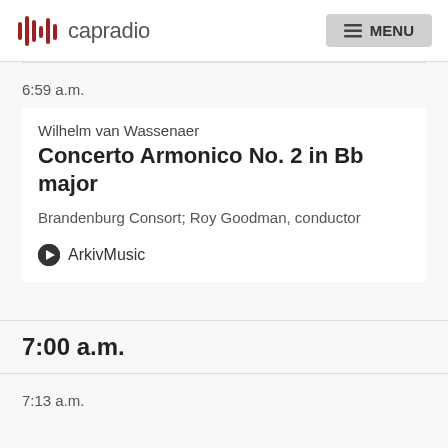capradio  MENU
6:59 a.m.
Wilhelm van Wassenaer
Concerto Armonico No. 2 in Bb major
Brandenburg Consort; Roy Goodman, conductor
ArkivMusic
7:00 a.m.
7:13 a.m.